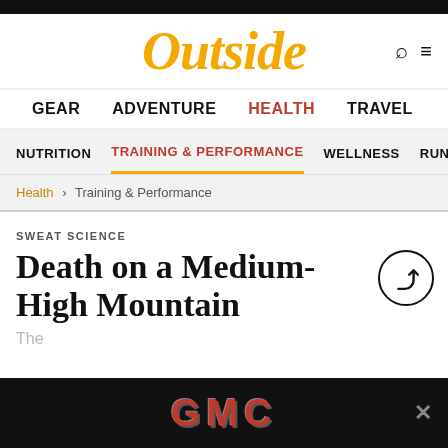Outside
GEAR  ADVENTURE  HEALTH  TRAVEL
NUTRITION  TRAINING & PERFORMANCE  WELLNESS  RUN
Health > Training & Performance
SWEAT SCIENCE
Death on a Medium-High Mountain
[Figure (logo): GMC advertisement banner at the bottom of the page]
The